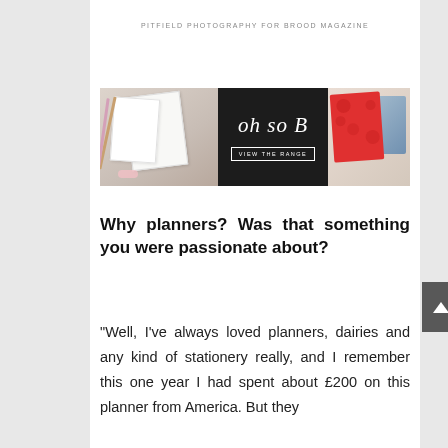PITFIELD PHOTOGRAPHY FOR BROOD MAGAZINE
[Figure (photo): Advertisement banner for 'oh so B' showing notebooks and planners on the left, the brand name on a black background with 'VIEW THE RANGE' button in the center, and colorful patterned planners on the right.]
Why planners? Was that something you were passionate about?
“Well, I’ve always loved planners, dairies and any kind of stationery really, and I remember this one year I had spent about £200 on this planner from America. But they